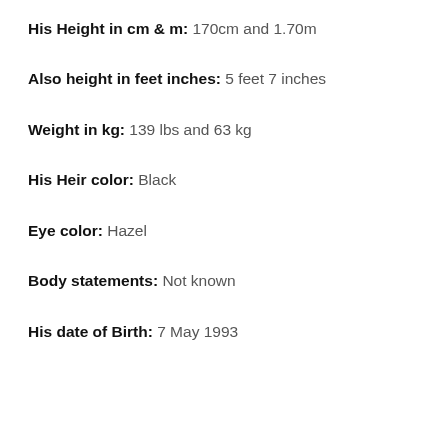His Height in cm & m: 170cm and 1.70m
Also height in feet inches: 5 feet 7 inches
Weight in kg: 139 lbs and 63 kg
His Heir color: Black
Eye color: Hazel
Body statements: Not known
His date of Birth: 7 May 1993